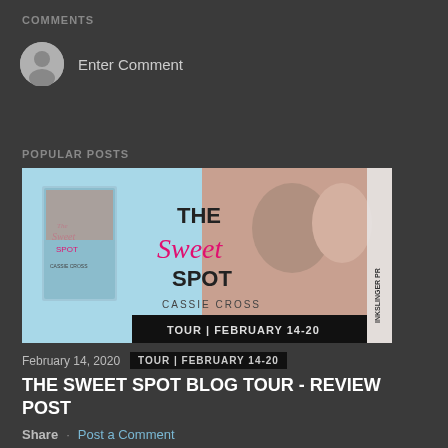COMMENTS
Enter Comment
POPULAR POSTS
[Figure (photo): Book cover and banner for 'The Sweet Spot' by Cassie Cross, showing the book cover on the left and a couple on the right, with pink cursive text reading 'The Sweet Spot' and a tour banner 'TOUR | FEBRUARY 14-20']
February 14, 2020   TOUR | FEBRUARY 14-20
THE SWEET SPOT BLOG TOUR - REVIEW POST
Share   Post a Comment